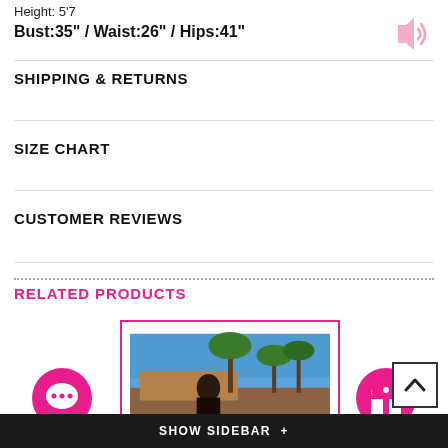Height: 5'7
Bust:35" / Waist:26" / Hips:41"
[Figure (illustration): Pink speaker/audio icon in top right corner]
SHIPPING & RETURNS
SIZE CHART
CUSTOMER REVIEWS
RELATED PRODUCTS
[Figure (photo): Product photo showing a woman standing outdoors with palm trees and blue sky in the background]
[Figure (illustration): Pink circular chat bubble icon button]
[Figure (illustration): Pink circular gift box icon button]
[Figure (illustration): Back to top arrow button (square with chevron up)]
SHOW SIDEBAR +